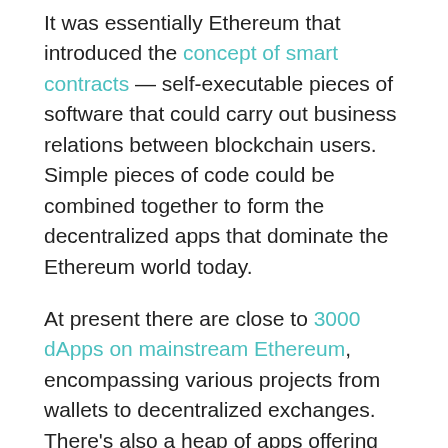It was essentially Ethereum that introduced the concept of smart contracts — self-executable pieces of software that could carry out business relations between blockchain users. Simple pieces of code could be combined together to form the decentralized apps that dominate the Ethereum world today.
At present there are close to 3000 dApps on mainstream Ethereum, encompassing various projects from wallets to decentralized exchanges. There's also a heap of apps offering an experience that's more relevant to the average, non-crypto user. Ethereum dApps and platforms include supply chain, security, real estate, eCommerce, entertainment, and gaming solutions.
Before the split, it was the DAO application that